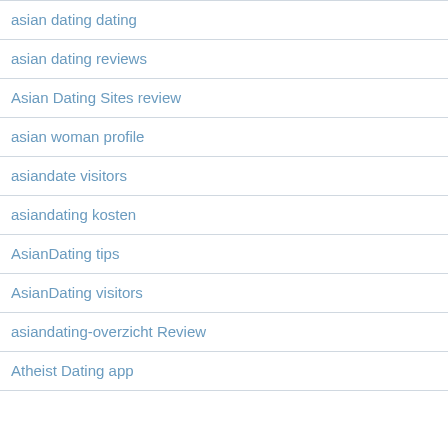asian dating dating
asian dating reviews
Asian Dating Sites review
asian woman profile
asiandate visitors
asiandating kosten
AsianDating tips
AsianDating visitors
asiandating-overzicht Review
Atheist Dating app